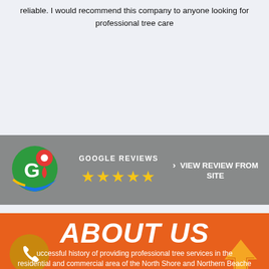reliable. I would recommend this company to anyone looking for professional tree care
[Figure (logo): Google Maps logo circle with G letter and red pin marker]
GOOGLE REVIEWS ★★★★★
> VIEW REVIEW FROM SITE
ABOUT US
successful history of providing professional tree services in the residential and commercial area of the North Shore and Northern Beache